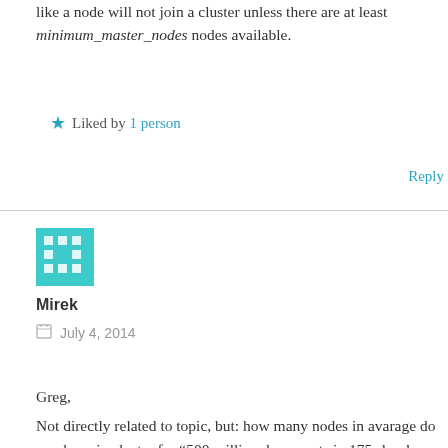like a node will not join a cluster unless there are at least minimum_master_nodes nodes available.
★ Liked by 1 person
Reply
[Figure (illustration): Teal/cyan pixel avatar icon for user Mirek]
Mirek
July 4, 2014
Greg,
Not directly related to topic, but: how many nodes in avarage do you have in cluster for “500 million documents in 175 shards (about 8TB including replication)”. How strong are that machines?
Mirek